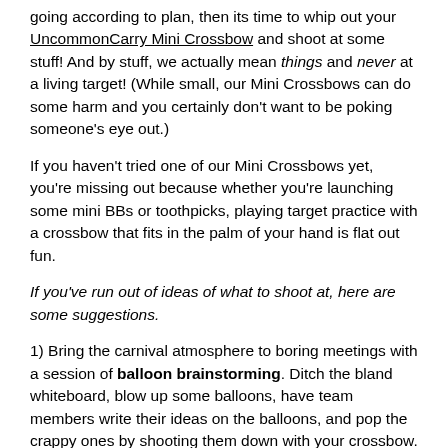going according to plan, then its time to whip out your UncommonCarry Mini Crossbow and shoot at some stuff! And by stuff, we actually mean things and never at a living target! (While small, our Mini Crossbows can do some harm and you certainly don't want to be poking someone's eye out.)
If you haven't tried one of our Mini Crossbows yet, you're missing out because whether you're launching some mini BBs or toothpicks, playing target practice with a crossbow that fits in the palm of your hand is flat out fun.
If you've run out of ideas of what to shoot at, here are some suggestions.
1) Bring the carnival atmosphere to boring meetings with a session of balloon brainstorming. Ditch the bland whiteboard, blow up some balloons, have team members write their ideas on the balloons, and pop the crappy ones by shooting them down with your crossbow. Just make sure you have great aim so you don't end up deflating the next million-dollar idea.